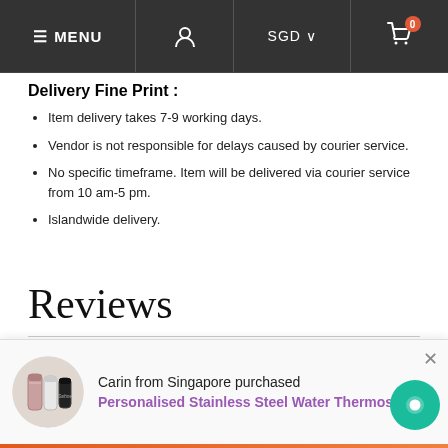≡ MENU | [user icon] | SGD ∨ | [cart icon] 0
Delivery Fine Print :
Item delivery takes 7-9 working days.
Vendor is not responsible for delays caused by courier service.
No specific timeframe. Item will be delivered via courier service from 10 am-5 pm.
Islandwide delivery.
Reviews
[Figure (screenshot): E-commerce notification popup showing a thermos product image, text 'Carin from Singapore purchased' and 'Personalised Stainless Steel Water Thermos' in purple, with a close button and teal chat bubble icon.]